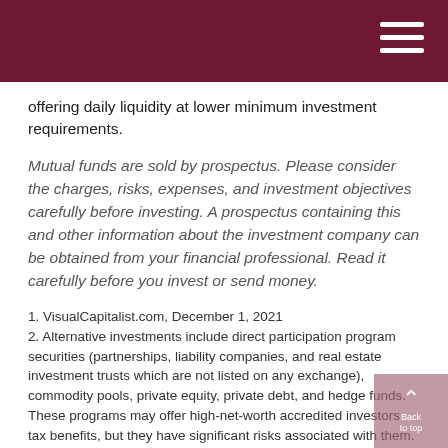offering daily liquidity at lower minimum investment requirements.
Mutual funds are sold by prospectus. Please consider the charges, risks, expenses, and investment objectives carefully before investing. A prospectus containing this and other information about the investment company can be obtained from your financial professional. Read it carefully before you invest or send money.
1. VisualCapitalist.com, December 1, 2021
2. Alternative investments include direct participation program securities (partnerships, liability companies, and real estate investment trusts which are not listed on any exchange), commodity pools, private equity, private debt, and hedge funds. These programs may offer high-net-worth accredited investors tax benefits, but they have significant risks associated with them. Typically, alternative investments are illiquid investments and their